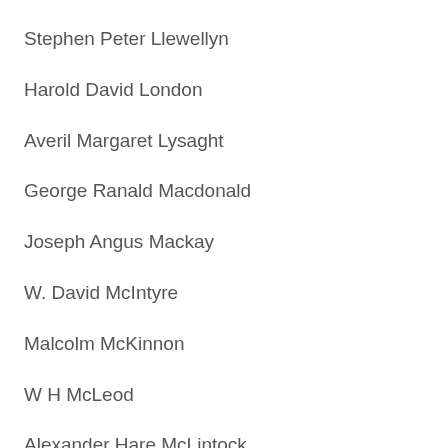Stephen Peter Llewellyn
Harold David London
Averil Margaret Lysaght
George Ranald Macdonald
Joseph Angus Mackay
W. David McIntyre
Malcolm McKinnon
W H McLeod
Alexander Hare McLintock